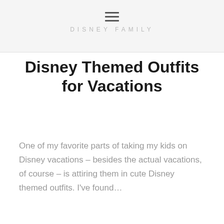DISNEY FAMILY
Disney Themed Outfits for Vacations
One of my favorite parts of taking my kids on Disney vacations – besides the actual vacations, of course – is attiring them in cute Disney themed outfits. I've found…
READ MORE »
[Figure (other): Pagination bar with chevron and page number blocks]
[Figure (other): Advertisement banner: 'Hack the Political System.' with CrowdVote.IO branding]